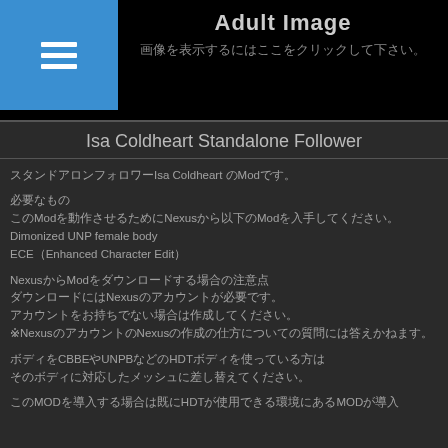[Figure (other): Adult image placeholder with hamburger menu icon on blue background and Japanese text 'Click here to display the image']
Isa Coldheart Standalone Follower
スタンドアロンフォロワーIsa Coldheart のModです。
必要なもの
このModを動作させるためにNexusから以下のModを入手してください。
Dimonized UNP female body
ECE（Enhanced Character Edit）
NexusからModをダウンロードする場合の注意点
ダウンロードにはNexusのアカウントが必要です。
アカウントをお持ちでない場合は作成してください。
※Nexusのアカウントの作成の仕方についての質問には答えかねます。
ボディをCBBEやUNPBなどのHDTボディを使っている方は
そのボディに対応したメッシュに差し替えてください。
このModを導入する場合は既にHDTが使用できる環境にあるMODが導入